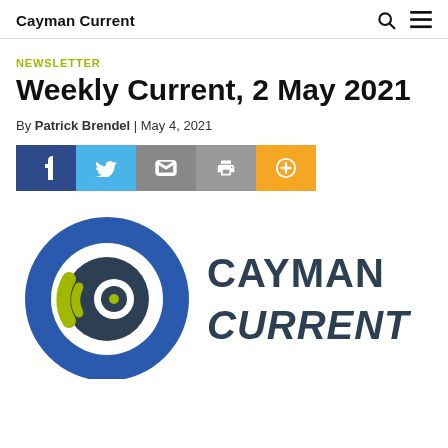Cayman Current
NEWSLETTER
Weekly Current, 2 May 2021
By Patrick Brendel | May 4, 2021
[Figure (other): Social share buttons: Facebook, Twitter, Email, Print, Plus]
[Figure (logo): Cayman Current logo: blue circle with eye/lens icon in olive and dark teal, with text CAYMAN CURRENT in dark blue-gray]